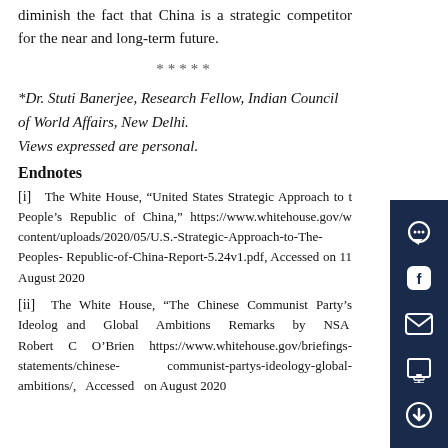diminish the fact that China is a strategic competitor for the near and long-term future.
*****
*Dr. Stuti Banerjee, Research Fellow, Indian Council of World Affairs, New Delhi.
Views expressed are personal.
Endnotes
[i]   The White House, “United States Strategic Approach to the People’s Republic of China,” https://www.whitehouse.gov/wp-content/uploads/2020/05/U.S.-Strategic-Approach-to-The-Peoples-Republic-of-China-Report-5.24v1.pdf, Accessed on 11 August 2020
[ii]  The White House, “The Chinese Communist Party’s Ideology and Global Ambitions Remarks by NSA Robert C O’Brien,” https://www.whitehouse.gov/briefings-statements/chinese-communist-partys-ideology-global-ambitions/, Accessed on August 2020